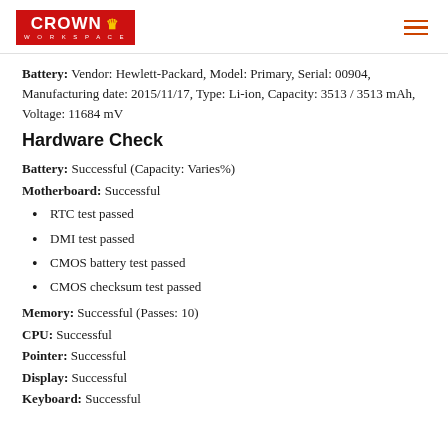Crown Workspace
Battery: Vendor: Hewlett-Packard, Model: Primary, Serial: 00904, Manufacturing date: 2015/11/17, Type: Li-ion, Capacity: 3513 / 3513 mAh, Voltage: 11684 mV
Hardware Check
Battery: Successful (Capacity: Varies%)
Motherboard: Successful
RTC test passed
DMI test passed
CMOS battery test passed
CMOS checksum test passed
Memory: Successful (Passes: 10)
CPU: Successful
Pointer: Successful
Display: Successful
Keyboard: Successful